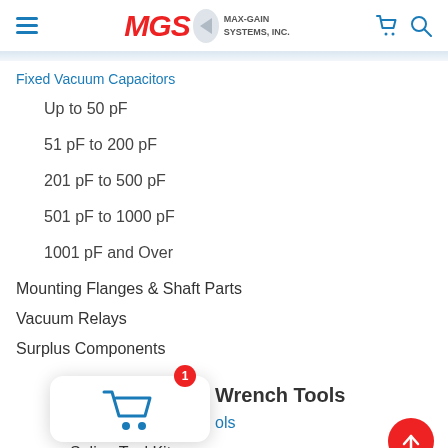MGS MAX-GAIN SYSTEMS, INC.
Fixed Vacuum Capacitors
Up to 50 pF
51 pF to 200 pF
201 pF to 500 pF
501 pF to 1000 pF
1001 pF and Over
Mounting Flanges & Shaft Parts
Vacuum Relays
Surplus Components
Wrench Tools
ols
Spline Tool Kits